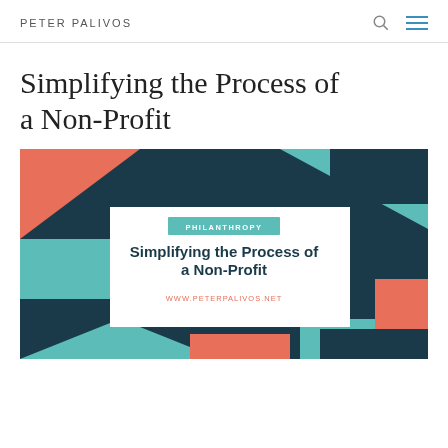PETER PALIVOS
Simplifying the Process of a Non-Profit
[Figure (illustration): Decorative banner image with geometric shapes in dark navy, teal, and salmon/coral colors. Center white box contains text: PHILANTHROPY (label), 'Simplifying the Process of a Non-Profit' (bold dark blue title), and WWW.PETERPALIVOS.NET (coral link text).]